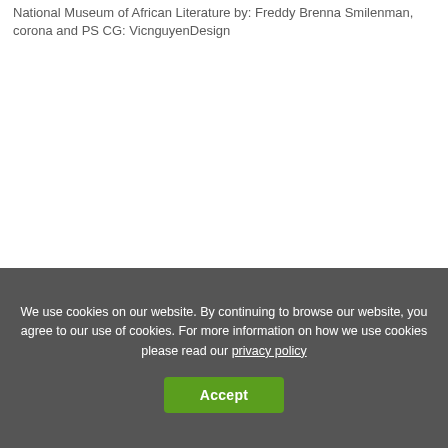National Museum of African Literature by: Freddy Brenna Smilenman, corona and PS CG: VicnguyenDesign
We use cookies on our website. By continuing to browse our website, you agree to our use of cookies. For more information on how we use cookies please read our privacy policy